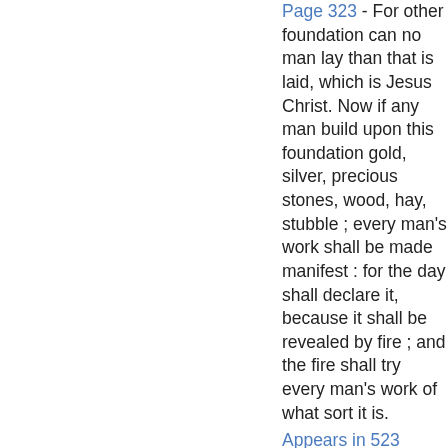Page 323 - For other foundation can no man lay than that is laid, which is Jesus Christ. Now if any man build upon this foundation gold, silver, precious stones, wood, hay, stubble ; every man's work shall be made manifest : for the day shall declare it, because it shall be revealed by fire ; and the fire shall try every man's work of what sort it is.
Appears in 523 books from 1800-2008
Page 412 - For the time will come when they will not endure sound doctrine ; but after their own lusts shall they heap